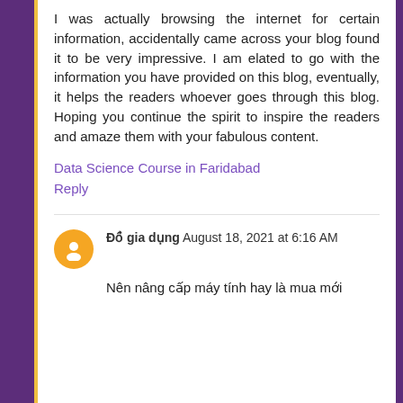I was actually browsing the internet for certain information, accidentally came across your blog found it to be very impressive. I am elated to go with the information you have provided on this blog, eventually, it helps the readers whoever goes through this blog. Hoping you continue the spirit to inspire the readers and amaze them with your fabulous content.
Data Science Course in Faridabad
Reply
Đồ gia dụng August 18, 2021 at 6:16 AM
Nên nâng cấp máy tính hay là mua mới